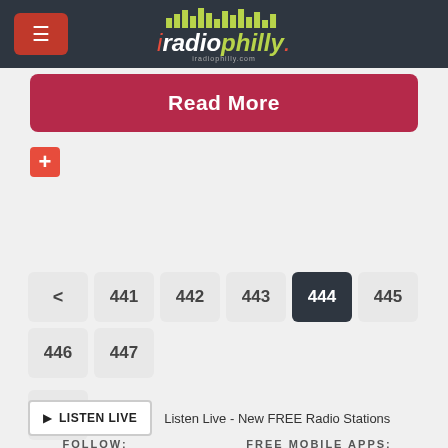iRadioPhilly - iradiophilly.com
Read More
[Figure (other): Orange plus/add button icon]
< 441 442 443 444 445 446 447 >
LISTEN LIVE   Listen Live - New FREE Radio Stations
FOLLOW:
[Figure (other): Facebook and Twitter social media icons]
FREE MOBILE APPS:
[Figure (other): App Store and Google Play badges]